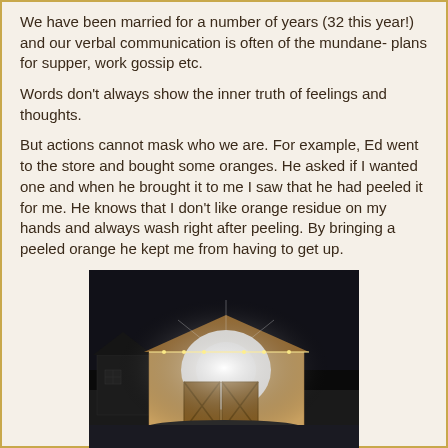We have been married for a number of years (32 this year!) and our verbal communication is often of the mundane- plans for supper, work gossip etc.
Words don't always show the inner truth of feelings and thoughts.
But actions cannot mask who we are. For example, Ed went to the store and bought some oranges. He asked if I wanted one and when he brought it to me I saw that he had peeled it for me. He knows that I don't like orange residue on my hands and always wash right after peeling. By bringing a peeled orange he kept me from having to get up.
[Figure (photo): Nighttime photo of a barn or outbuilding with lights, wooden structure with cross-pattern barn doors, bright light shining from entrance]